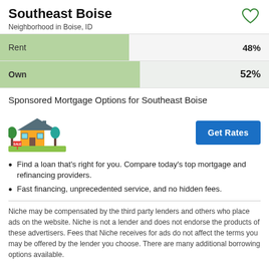Southeast Boise
Neighborhood in Boise, ID
[Figure (bar-chart): Rent/Own]
Sponsored Mortgage Options for Southeast Boise
[Figure (illustration): House illustration for mortgage advertisement]
Find a loan that's right for you. Compare today's top mortgage and refinancing providers.
Fast financing, unprecedented service, and no hidden fees.
Niche may be compensated by the third party lenders and others who place ads on the website. Niche is not a lender and does not endorse the products of these advertisers. Fees that Niche receives for ads do not affect the terms you may be offered by the lender you choose. There are many additional borrowing options available.